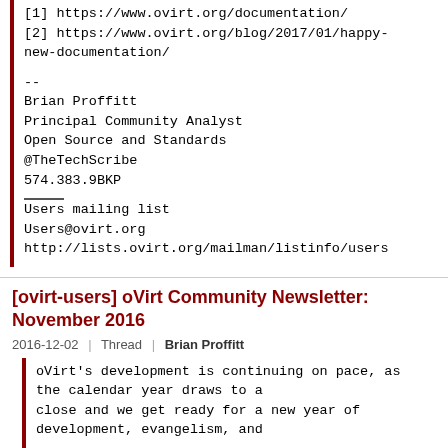[1] https://www.ovirt.org/documentation/
[2] https://www.ovirt.org/blog/2017/01/happy-new-documentation/

--
Brian Proffitt
Principal Community Analyst
Open Source and Standards
@TheTechScribe
574.383.9BKP

____
Users mailing list
Users@ovirt.org
http://lists.ovirt.org/mailman/listinfo/users
[ovirt-users] oVirt Community Newsletter: November 2016
2016-12-02   Thread   Brian Proffitt
oVirt's development is continuing on pace, as the calendar year draws to a close and we get ready for a new year of development, evangelism, and